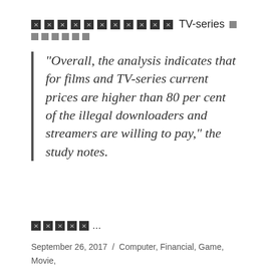[redacted] TV-series [redacted]
“Overall, the analysis indicates that for films and TV-series current prices are higher than 80 per cent of the illegal downloaders and streamers are willing to pay,” the study notes.
[redacted]...
September 26, 2017 / Computer, Financial, Game, Movie, Murmuring, Network, Recreation, Social, Television / copyright, eu, europe, paper, piracy, report, research, transparency / Leave a comment